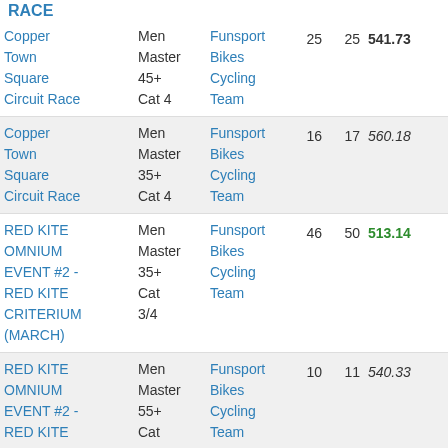| RACE | Category | Organization | # | # | Score | Badge |
| --- | --- | --- | --- | --- | --- | --- |
| Copper Town Square Circuit Race | Men Master 45+ Cat 4 | Funsport Bikes Cycling Team | 25 | 25 | 541.73 | 25 badge |
| Copper Town Square Circuit Race | Men Master 35+ Cat 4 | Funsport Bikes Cycling Team | 16 | 17 | 560.18 | 16 badge |
| RED KITE OMNIUM EVENT #2 - RED KITE CRITERIUM (MARCH) | Men Master 35+ Cat 3/4 | Funsport Bikes Cycling Team | 46 | 50 | 513.14 |  |
| RED KITE OMNIUM EVENT #2 - RED KITE CRITERIUM (MARCH) | Men Master 55+ Cat | Funsport Bikes Cycling Team | 10 | 11 | 540.33 |  |